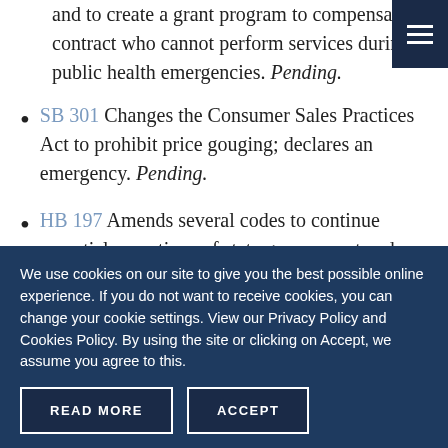and to create a grant program to compensate contract who cannot perform services during public health emergencies. Pending.
SB 301 Changes the Consumer Sales Practices Act to prohibit price gouging; declares an emergency. Pending.
HB 197 Amends several codes to continue essential operations of state government and maintain the continuity of the state tax code in response to the declared pandemic and global health emergency related to COVID-19; makes
We use cookies on our site to give you the best possible online experience. If you do not want to receive cookies, you can change your cookie settings. View our Privacy Policy and Cookies Policy. By using the site or clicking on Accept, we assume you agree to this.
READ MORE
ACCEPT